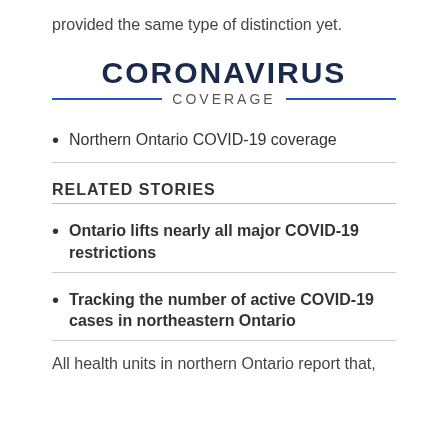provided the same type of distinction yet.
[Figure (other): Coronavirus Coverage banner with bold dark blue CORONAVIRUS text, blue horizontal lines flanking COVERAGE text in grey]
Northern Ontario COVID-19 coverage
RELATED STORIES
Ontario lifts nearly all major COVID-19 restrictions
Tracking the number of active COVID-19 cases in northeastern Ontario
All health units in northern Ontario report that,